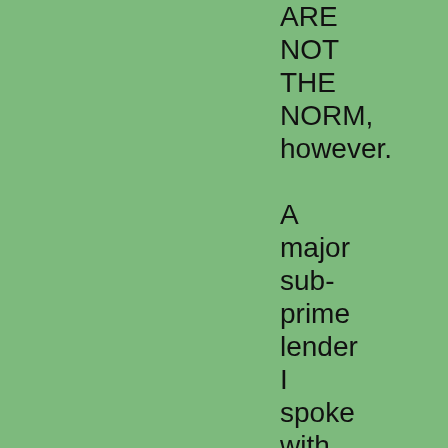ARE NOT THE NORM, however. A major sub-prime lender I spoke with said that only 19.6% of the applications they